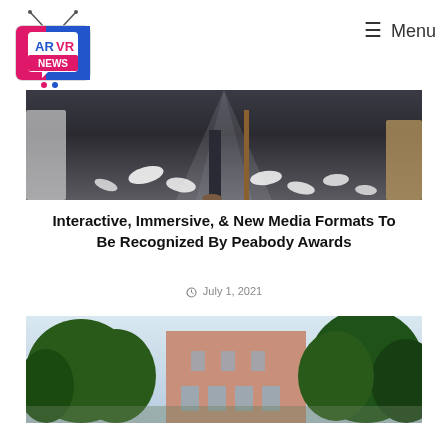[Figure (logo): AR VR News logo — TV set icon with antenna, pink/blue/white colors, text AR VR NEWS]
≡ Menu
[Figure (photo): Dark moody photo showing scattered white papers on a dark floor with a person's feet and a chair leg visible]
Interactive, Immersive, & New Media Formats To Be Recognized By Peabody Awards
July 1, 2021
[Figure (photo): Photo of a building exterior with trees in foreground, reddish-pink brick building with windows visible]